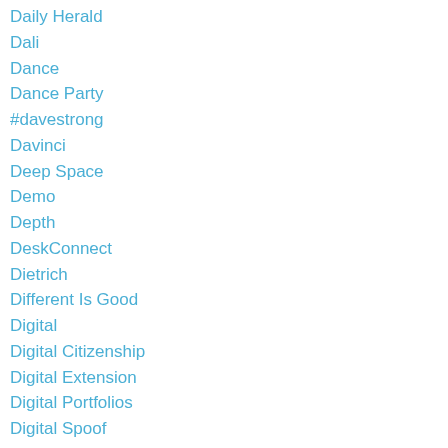Daily Herald
Dali
Dance
Dance Party
#davestrong
Davinci
Deep Space
Demo
Depth
DeskConnect
Dietrich
Different Is Good
Digital
Digital Citizenship
Digital Extension
Digital Portfolios
Digital Spoof
Display
Ditty
Diversity
Document Stand